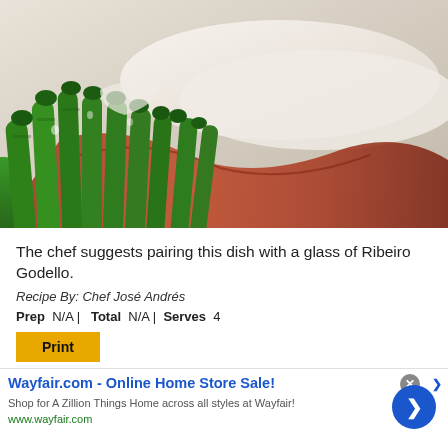[Figure (photo): Close-up photo of green asparagus spears wrapped with prosciutto or cured ham, with a white creamy background element]
The chef suggests pairing this dish with a glass of Ribeiro Godello.
Recipe By: Chef José Andrés
Prep  N/A |   Total  N/A |   Serves  4
Print
[Figure (screenshot): Advertisement banner: Wayfair.com - Online Home Store Sale! Shop for A Zillion Things Home across all styles at Wayfair! www.wayfair.com]